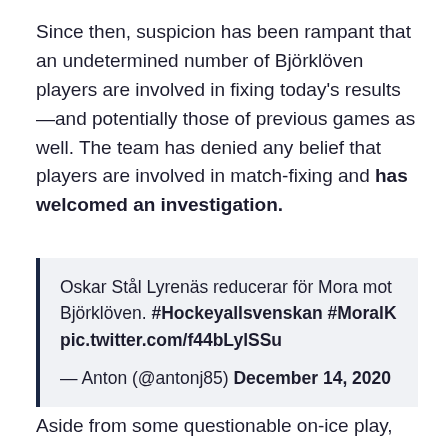Since then, suspicion has been rampant that an undetermined number of Björklöven players are involved in fixing today's results—and potentially those of previous games as well. The team has denied any belief that players are involved in match-fixing and has welcomed an investigation.
Oskar Stål Lyrenäs reducerar för Mora mot Björklöven. #Hockeyallsvenskan #MoralK pic.twitter.com/f44bLylSSu

— Anton (@antonj85) December 14, 2020
Aside from some questionable on-ice play, including